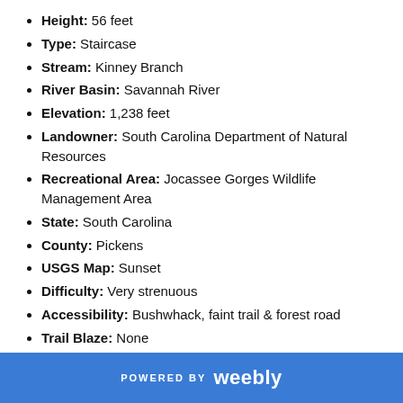Height: 56 feet
Type: Staircase
Stream: Kinney Branch
River Basin: Savannah River
Elevation: 1,238 feet
Landowner: South Carolina Department of Natural Resources
Recreational Area: Jocassee Gorges Wildlife Management Area
State: South Carolina
County: Pickens
USGS Map: Sunset
Difficulty: Very strenuous
Accessibility: Bushwhack, faint trail & forest road
Trail Blaze: None
Admission Fee: None
Hike Length: 2.36 miles
Waterfall GPS: 34.99544 -82.86418
POWERED BY weebly